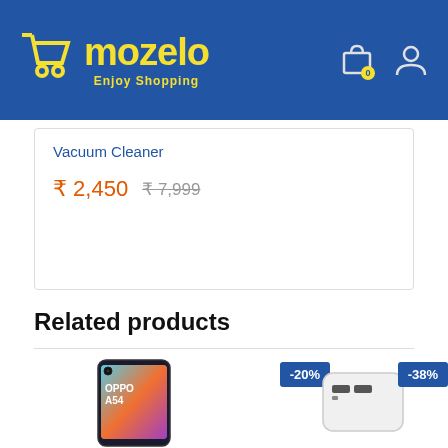mozelo — Enjoy Shopping
Vacuum Cleaner
₹ 2,450  ₹ 7,999
Related products
[Figure (photo): OPPO A54 smartphone product image with -20% discount badge]
[Figure (photo): Power bank product image with -38% discount badge]